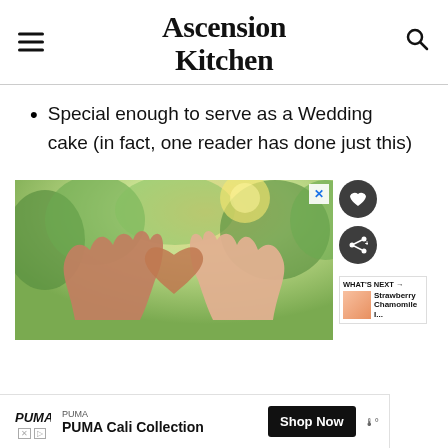Ascension Kitchen
Special enough to serve as a Wedding cake (in fact, one reader has done just this)
[Figure (photo): Two hands forming a heart shape together against a green bokeh background with warm sunlight]
[Figure (photo): WHAT'S NEXT arrow thumbnail: Strawberry Chamomile I...]
PUMA PUMA Cali Collection Shop Now